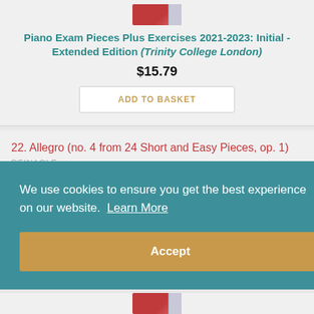[Figure (photo): Book cover image for Piano Exam Pieces Plus Exercises 2021-2023]
Piano Exam Pieces Plus Exercises 2021-2023: Initial - Extended Edition (Trinity College London)
$15.79
ADD TO BASKET
22. Allegro (no. 4 from 24 Short and Easy Pieces, op. 1)
REINAGLE
We use cookies to ensure you get the best experience on our website. Learn More
Accept
[Figure (photo): Partial book cover image at bottom of page]